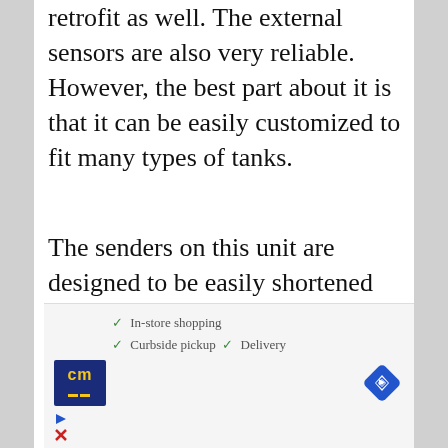retrofit as well. The external sensors are also very reliable. However, the best part about it is that it can be easily customized to fit many types of tanks.
The senders on this unit are designed to be easily shortened and the two can even be combined in order to accommodate almost any type of holding tank shape or size, making this worth your money. Plus, while this unit will work easily on poly and plastic
[Figure (infographic): Advertisement overlay showing: In-store shopping checkmark, Curbside pickup checkmark, Delivery checkmark, CM logo (yellow text on dark blue), navigation/map diamond icon in blue, play button arrow and X close button]